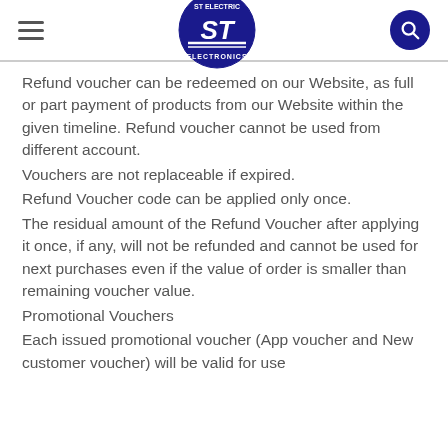ST Electric Electronics
Refund voucher can be redeemed on our Website, as full or part payment of products from our Website within the given timeline. Refund voucher cannot be used from different account.
Vouchers are not replaceable if expired.
Refund Voucher code can be applied only once.
The residual amount of the Refund Voucher after applying it once, if any, will not be refunded and cannot be used for next purchases even if the value of order is smaller than remaining voucher value.
Promotional Vouchers
Each issued promotional voucher (App voucher and New customer voucher) will be valid for use